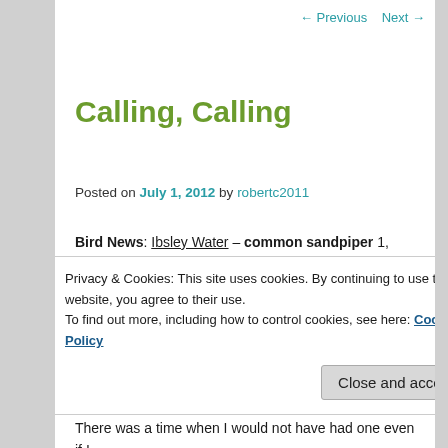← Previous   Next →
Calling, Calling
Posted on July 1, 2012 by robertc2011
Bird News: Ibsley Water – common sandpiper 1, yellow-legged gull 1. Ivy Lake – mute swan 21, common tern c15 flying juveniles.
As it was Sunday and the start of another month there was a volunteer task this morning, typically the Sunday tasks draw many fewer volunteers than those on a
Privacy & Cookies: This site uses cookies. By continuing to use this website, you agree to their use.
To find out more, including how to control cookies, see here: Cookie Policy
There was a time when I would not have had one even if I